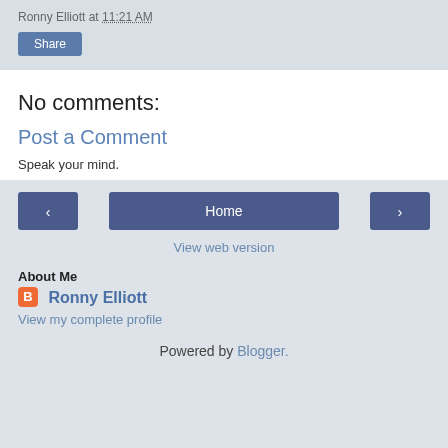Ronny Elliott at 11:21 AM
Share
No comments:
Post a Comment
Speak your mind.
< Home >
View web version
About Me
Ronny Elliott
View my complete profile
Powered by Blogger.